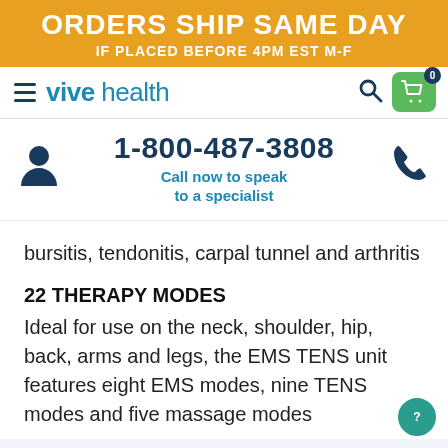ORDERS SHIP SAME DAY
IF PLACED BEFORE 4PM EST M-F
[Figure (screenshot): Vive Health website navigation bar with hamburger menu, Vive Health logo in teal, search icon, and green shopping cart icon with 0 badge]
1-800-487-3808
Call now to speak to a specialist
bursitis, tendonitis, carpal tunnel and arthritis
22 THERAPY MODES
Ideal for use on the neck, shoulder, hip, back, arms and legs, the EMS TENS unit features eight EMS modes, nine TENS modes and five massage modes